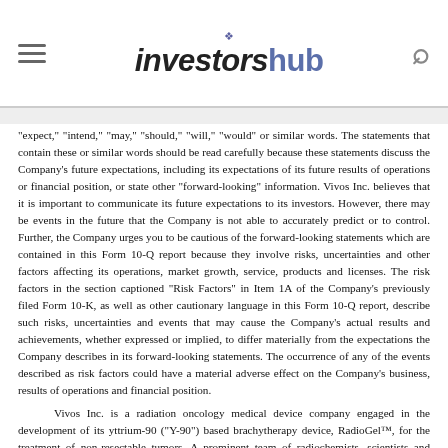InvestorsHub
“expect,” “intend,” “may,” “should,” “will,” “would” or similar words. The statements that contain these or similar words should be read carefully because these statements discuss the Company’s future expectations, including its expectations of its future results of operations or financial position, or state other “forward-looking” information. Vivos Inc. believes that it is important to communicate its future expectations to its investors. However, there may be events in the future that the Company is not able to accurately predict or to control. Further, the Company urges you to be cautious of the forward-looking statements which are contained in this Form 10-Q report because they involve risks, uncertainties and other factors affecting its operations, market growth, service, products and licenses. The risk factors in the section captioned “Risk Factors” in Item 1A of the Company’s previously filed Form 10-K, as well as other cautionary language in this Form 10-Q report, describe such risks, uncertainties and events that may cause the Company’s actual results and achievements, whether expressed or implied, to differ materially from the expectations the Company describes in its forward-looking statements. The occurrence of any of the events described as risk factors could have a material adverse effect on the Company’s business, results of operations and financial position.
Vivos Inc. is a radiation oncology medical device company engaged in the development of its yttrium-90 (“Y-90”) based brachytherapy device, RadioGel™, for the treatment of non-resectable tumors. A prominent team of radiochemists, scientists and engineers, collaborating with strategic partners,